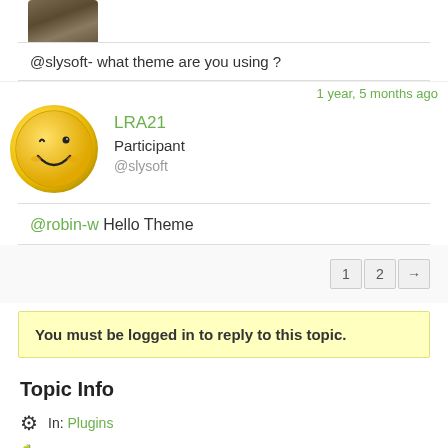[Figure (photo): Partial avatar image at top, appears to be a person or animal photo, cropped]
@slysoft- what theme are you using ?
1 year, 5 months ago
[Figure (illustration): Yellow smiley face avatar for user LRA21]
LRA21
Participant
@slysoft
@robin-w Hello Theme
1  2  →
You must be logged in to reply to this topic.
Topic Info
In: Plugins
38 replies